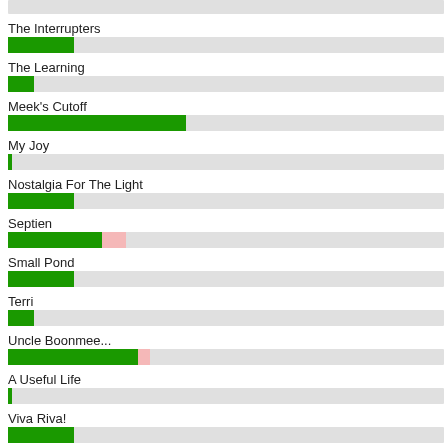[Figure (bar-chart): Film ratings bar chart]